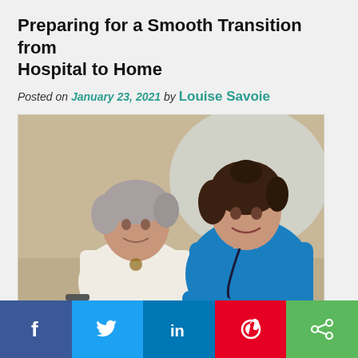Preparing for a Smooth Transition from Hospital to Home
Posted on January 23, 2021 by Louise Savoie
[Figure (photo): An elderly woman in a wheelchair smiling alongside a young female nurse in blue scrubs with a stethoscope, both smiling at the camera in a warm indoor setting.]
Social sharing bar with Facebook, Twitter, LinkedIn, Pinterest, and Share buttons